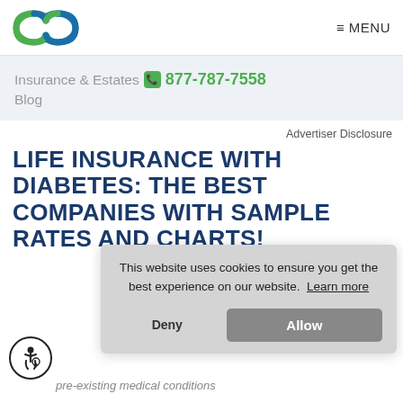Insurance & Estates 877-787-7558 Blog | MENU
Insurance & Estates 877-787-7558
Blog
Advertiser Disclosure
LIFE INSURANCE WITH DIABETES: THE BEST COMPANIES WITH SAMPLE RATES AND CHARTS!
This website uses cookies to ensure you get the best experience on our website. Learn more
Deny
Allow
pre-existing medical conditions